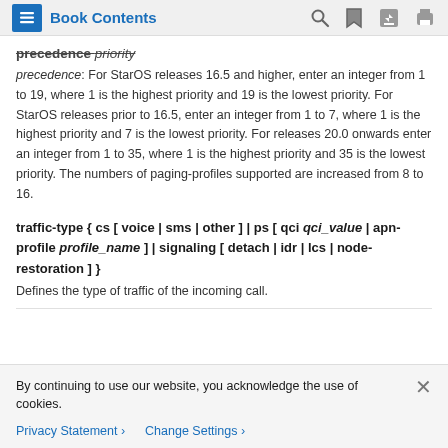Book Contents
precedence priority
precedence: For StarOS releases 16.5 and higher, enter an integer from 1 to 19, where 1 is the highest priority and 19 is the lowest priority. For StarOS releases prior to 16.5, enter an integer from 1 to 7, where 1 is the highest priority and 7 is the lowest priority. For releases 20.0 onwards enter an integer from 1 to 35, where 1 is the highest priority and 35 is the lowest priority. The numbers of paging-profiles supported are increased from 8 to 16.
traffic-type { cs [ voice | sms | other ] | ps [ qci qci_value | apn-profile profile_name ] | signaling [ detach | idr | lcs | node-restoration ] }
Defines the type of traffic of the incoming call.
By continuing to use our website, you acknowledge the use of cookies.
Privacy Statement > Change Settings >